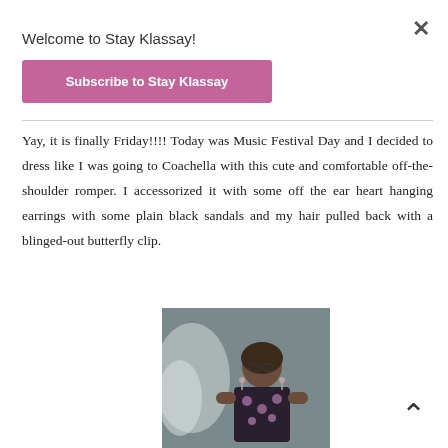×
Welcome to Stay Klassay!
Subscribe to Stay Klassay
Yay, it is finally Friday!!!! Today was Music Festival Day and I decided to dress like I was going to Coachella with this cute and comfortable off-the-shoulder romper. I accessorized it with some off the ear heart hanging earrings with some plain black sandals and my hair pulled back with a blinged-out butterfly clip.
[Figure (photo): Young woman with glasses wearing a dark floral off-the-shoulder romper, standing in front of a mural on a grey wall.]
^